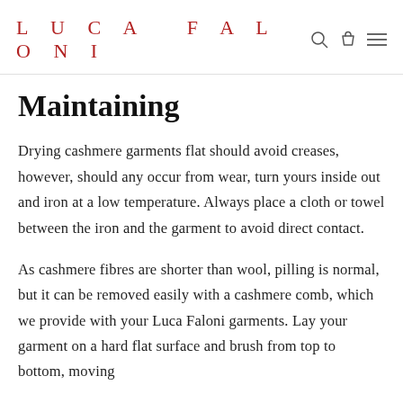LUCA FALONI
Maintaining
Drying cashmere garments flat should avoid creases, however, should any occur from wear, turn yours inside out and iron at a low temperature. Always place a cloth or towel between the iron and the garment to avoid direct contact.
As cashmere fibres are shorter than wool, pilling is normal, but it can be removed easily with a cashmere comb, which we provide with your Luca Faloni garments. Lay your garment on a hard flat surface and brush from top to bottom, moving